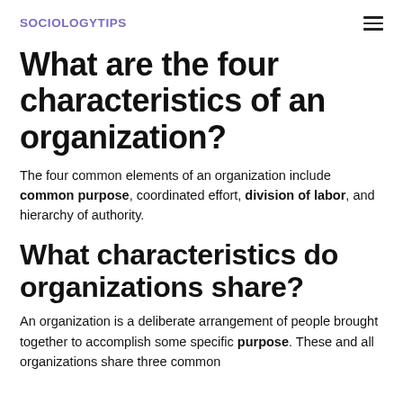SOCIOLOGYTIPS
What are the four characteristics of an organization?
The four common elements of an organization include common purpose, coordinated effort, division of labor, and hierarchy of authority.
What characteristics do organizations share?
An organization is a deliberate arrangement of people brought together to accomplish some specific purpose. These and all organizations share three common